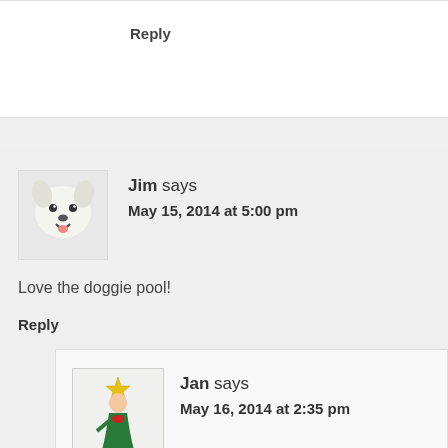Reply
[Figure (photo): Avatar image of a white dog (husky) smiling]
Jim says
May 15, 2014 at 5:00 pm
Love the doggie pool!
Reply
[Figure (illustration): Avatar illustration of a person in a green dress and hat walking]
Jan says
May 16, 2014 at 2:35 pm
We were lucky that friends of ours found